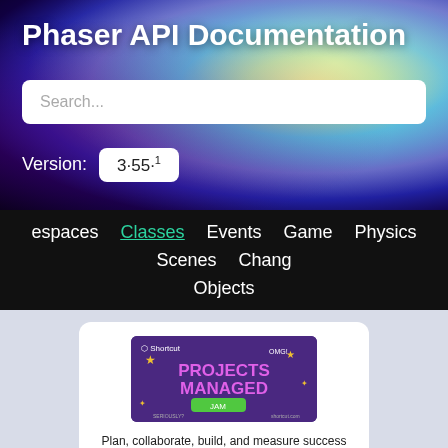Phaser API Documentation
Search...
Version: 3.55.1
espaces   Classes   Events   Game   Physics   Scenes   Chang  Objects
[Figure (screenshot): Shortcut advertisement banner: 'Projects Managed' game jam promotional image on purple background with stars]
Plan, collaborate, build, and measure success with Shortcut. Try it for free